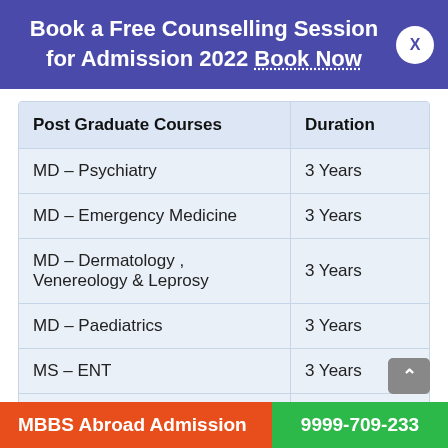Book a Free Counselling Session for Admission 2022 Book Now
| Post Graduate Courses | Duration |
| --- | --- |
| MD – Psychiatry | 3 Years |
| MD – Emergency Medicine | 3 Years |
| MD – Dermatology , Venereology & Leprosy | 3 Years |
| MD – Paediatrics | 3 Years |
| MS – ENT | 3 Years |
| MD/MS – Ophthalmology | 3 Years |
MBBS Abroad Admission  9999-709-233